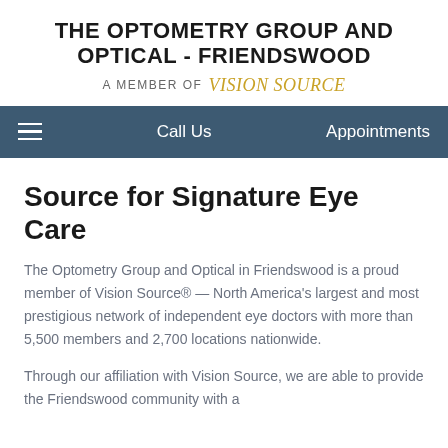THE OPTOMETRY GROUP AND OPTICAL - FRIENDSWOOD
A MEMBER OF Vision Source
Source for Signature Eye Care
The Optometry Group and Optical in Friendswood is a proud member of Vision Source® — North America's largest and most prestigious network of independent eye doctors with more than 5,500 members and 2,700 locations nationwide.
Through our affiliation with Vision Source, we are able to provide the Friendswood community with a